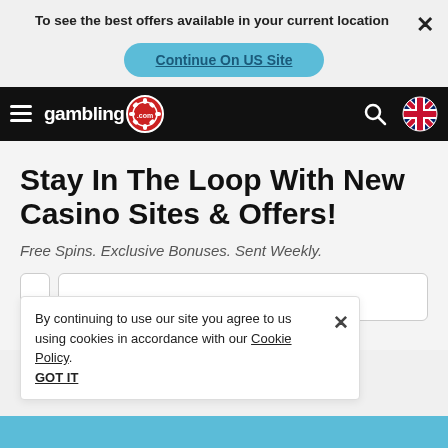To see the best offers available in your current location
Continue On US Site
gambling.com
Stay In The Loop With New Casino Sites & Offers!
Free Spins. Exclusive Bonuses. Sent Weekly.
By continuing to use our site you agree to us using cookies in accordance with our Cookie Policy.
GOT IT
e to receiving